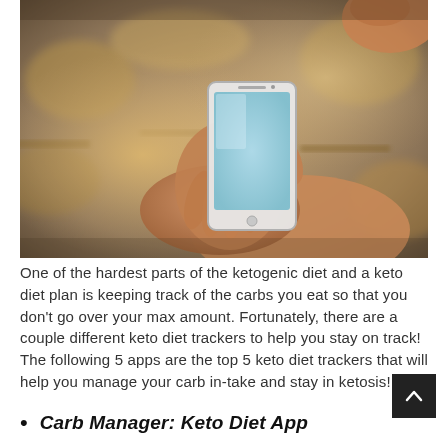[Figure (photo): A person holding a smartphone with a light-blue screen, photographed in a warm bokeh indoor/outdoor setting. The hand is in the lower center of frame, the face is partially visible at top right.]
One of the hardest parts of the ketogenic diet and a keto diet plan is keeping track of the carbs you eat so that you don't go over your max amount. Fortunately, there are a couple different keto diet trackers to help you stay on track! The following 5 apps are the top 5 keto diet trackers that will help you manage your carb in-take and stay in ketosis!
Carb Manager: Keto Diet App